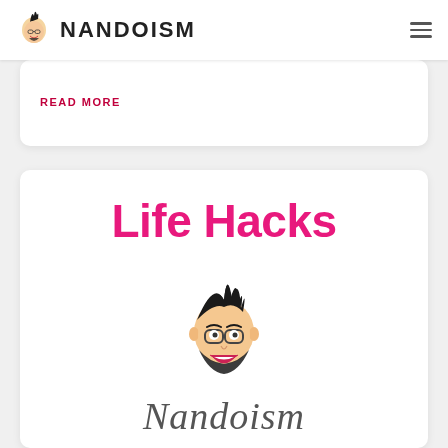NANDOISM
READ MORE
[Figure (illustration): Life Hacks card with bold pink 'Life Hacks' heading, a cartoon caricature of Nando (man with spiky black hair, glasses, beard, smiling), and 'Nandoism' in cursive script below]
Life Hacks